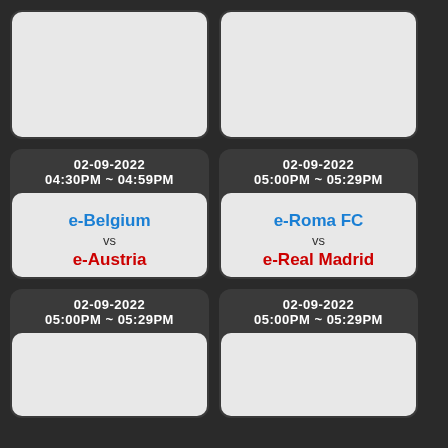[Figure (other): Top-left card: empty light gray content area on dark background]
[Figure (other): Top-right card: empty light gray content area on dark background]
02-09-2022
04:30PM ~ 04:59PM
e-Belgium vs e-Austria
02-09-2022
05:00PM ~ 05:29PM
e-Roma FC vs e-Real Madrid
02-09-2022
05:00PM ~ 05:29PM
02-09-2022
05:00PM ~ 05:29PM